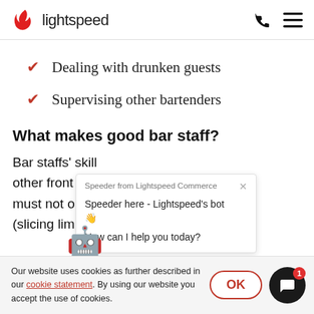lightspeed
Dealing with drunken guests
Supervising other bartenders
What makes good bar staff?
Bar staffs' skill other front of must not only (slicing lim
[Figure (other): Chat popup from Speeder (Lightspeed Commerce bot) saying 'Speeder here - Lightspeed's bot 👋 How can I help you today?']
Our website uses cookies as further described in our cookie statement. By using our website you accept the use of cookies.